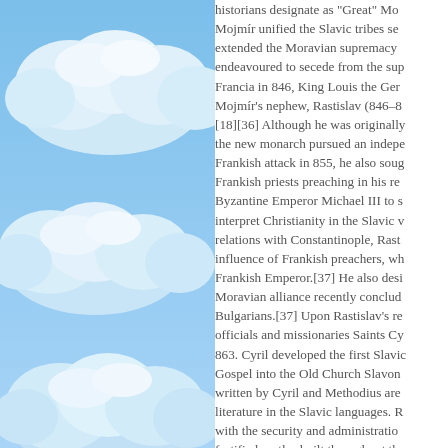[Figure (illustration): Blue sky with white clouds illustration on the left half of the page]
historians designate as "Great" Mo... Mojmír unified the Slavic tribes se... extended the Moravian supremacy ... endeavoured to secede from the sup... Francia in 846, King Louis the Ger... Mojmír's nephew, Rastislav (846–8... [18][36] Although he was originally... the new monarch pursued an indepe... Frankish attack in 855, he also soug... Frankish priests preaching in his re... Byzantine Emperor Michael III to s... interpret Christianity in the Slavic v... relations with Constantinople, Rast... influence of Frankish preachers, wh... Frankish Emperor.[37] He also desi... Moravian alliance recently conclud... Bulgarians.[37] Upon Rastislav's re... officials and missionaries Saints Cy... 863. Cyril developed the first Slavi... Gospel into the Old Church Slavon... written by Cyril and Methodius are... literature in the Slavic languages. R... with the security and administratio... fortified castles built throughout the... and some of them (e.g., Dowina, so... Castle)[11][26] are also mentioned ... by Frankish chronicles.[38][39] Mo... economically powerful enough to b...